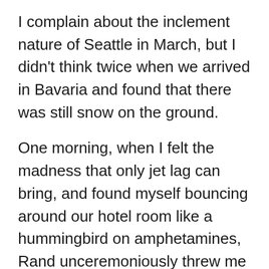I complain about the inclement nature of Seattle in March, but I didn't think twice when we arrived in Bavaria and found that there was still snow on the ground.
One morning, when I felt the madness that only jet lag can bring, and found myself bouncing around our hotel room like a hummingbird on amphetamines, Rand unceremoniously threw me out into the cold.
And by “throw me out into the cold”, I mean that he politely suggested that I take my camera, enjoy the sun, and burn off some of the crazy for which